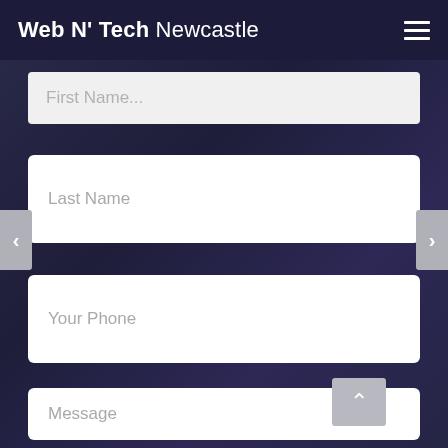Web N' Tech Newcastle
First Name (partially visible, placeholder)
Last Name
Your Phone
Message